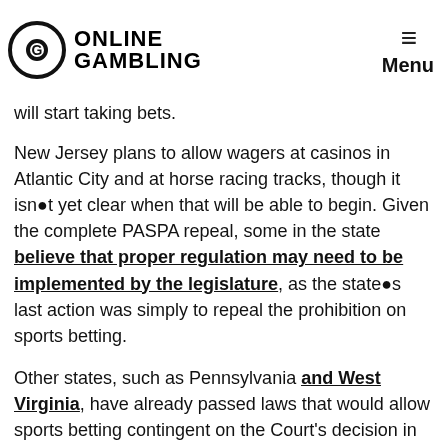ONLINE GAMBLING | Menu
will start taking bets.
New Jersey plans to allow wagers at casinos in Atlantic City and at horse racing tracks, though it isn●t yet clear when that will be able to begin. Given the complete PASPA repeal, some in the state believe that proper regulation may need to be implemented by the legislature, as the state●s last action was simply to repeal the prohibition on sports betting.
Other states, such as Pennsylvania and West Virginia, have already passed laws that would allow sports betting contingent on the Court’s decision in New Jersey’s case against the NCAA. More than 20 states have at least introduced bills to consider legalizing the practice, and a 2017 report by gaming industry analysts Eilers & Krejcik identified 32 states that seemed to have the political will to regulate sports betting within five years following a favorable Supreme Court decision.